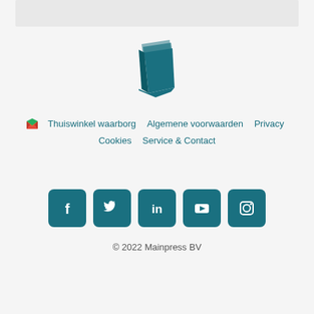[Figure (logo): Mainpress book logo in teal/dark cyan color — stylized open book with pages fanning out]
Thuiswinkel waarborg   Algemene voorwaarden   Privacy
Cookies   Service & Contact
[Figure (illustration): Row of 5 social media icons (Facebook, Twitter, LinkedIn, YouTube, Instagram) in teal rounded square buttons]
© 2022 Mainpress BV